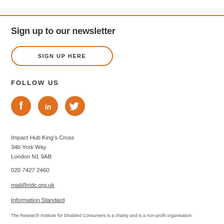Sign up to our newsletter
SIGN UP HERE
FOLLOW US
[Figure (illustration): Three orange circular social media icons: Facebook (f), LinkedIn (in), Twitter (bird)]
Impact Hub King's Cross
34b York Way
London N1 9AB
020 7427 2460
mail@ridc.org.uk
Information Standard
The Research Institute for Disabled Consumers is a charity and is a non-profit organization